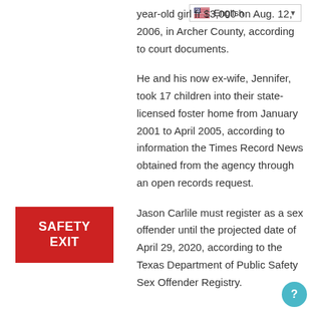[Figure (screenshot): English language selector dropdown with US flag icon]
year-old girl fr $3,000 on Aug. 12, 2006, in Archer County, according to court documents.
[Figure (other): Red SAFETY EXIT button]
He and his now ex-wife, Jennifer, took 17 children into their state-licensed foster home from January 2001 to April 2005, according to information the Times Record News obtained from the agency through an open records request.
Jason Carlile must register as a sex offender until the projected date of April 29, 2020, according to the Texas Department of Public Safety Sex Offender Registry.